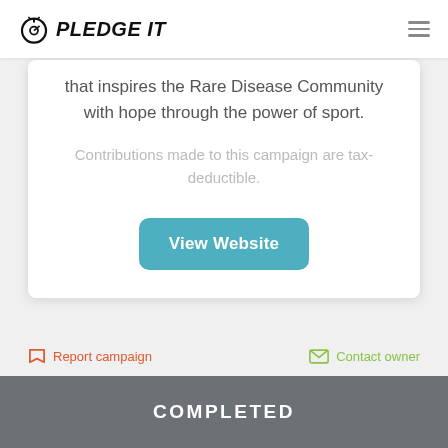PLEDGE IT
that inspires the Rare Disease Community with hope through the power of sport.
Contributions made to this campaign are tax-deductible.
View Website
Report campaign
Contact owner
COMPLETED